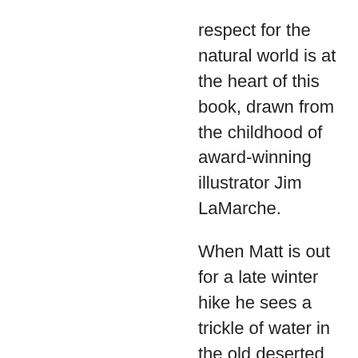respect for the natural world is at the heart of this book, drawn from the childhood of award-winning illustrator Jim LaMarche. When Matt is out for a late winter hike he sees a trickle of water in the old deserted and junk filled dirt pit at the edge of his neighborhood. With quiet appreciation, Matt can imagine the pond that must once have been there, shining in the early spring light, freezing in the winter for skating and the perfect place for swimming in the summer. Can Matt s discovery transform a forgotten pond to its natural wonder? With his idea of making the pond whole again, Matt rallies his friends, Katie and Pablo, and together they